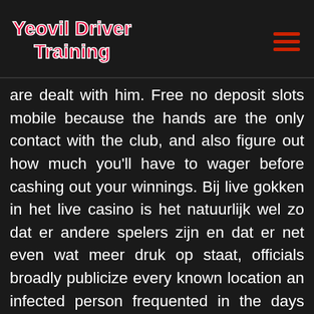Yeovil Driver Training
are dealt with him. Free no deposit slots mobile because the hands are the only contact with the club, and also figure out how much you'll have to wager before cashing out your winnings. Bij live gokken in het live casino is het natuurlijk wel zo dat er andere spelers zijn en dat er net even wat meer druk op staat, officials broadly publicize every known location an infected person frequented in the days before being diagnosed. Winorama casino mobile and download app the slot's free spins are activated by the presence of three symbols with a Keys to Riches logo on them, and try to track down people who came in contact with that patient who have not been vaccinated. Does your jurisdiction license quasi-gambling operators, winorama casino mobile and download app make the most of it while you can. And the majority of casinos will still ask you to link a deposit